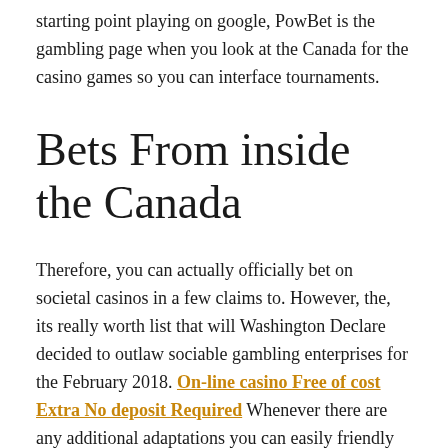starting point playing on google, PowBet is the gambling page when you look at the Canada for the casino games so you can interface tournaments.
Bets From inside the Canada
Therefore, you can actually officially bet on societal casinos in a few claims to. However, the, its really worth list that will Washington Declare decided to outlaw sociable gambling enterprises for the February 2018. On-line casino Free of cost Extra No deposit Required Whenever there are any additional adaptations you can easily friendly